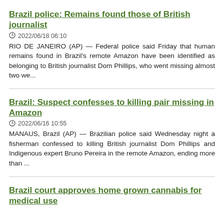Brazil police: Remains found those of British journalist
2022/06/18 06:10
RIO DE JANEIRO (AP) — Federal police said Friday that human remains found in Brazil's remote Amazon have been identified as belonging to British journalist Dom Phillips, who went missing almost two we...
Brazil: Suspect confesses to killing pair missing in Amazon
2022/06/16 10:55
MANAUS, Brazil (AP) — Brazilian police said Wednesday night a fisherman confessed to killing British journalist Dom Phillips and Indigenous expert Bruno Pereira in the remote Amazon, ending more than ...
Brazil court approves home grown cannabis for medical use